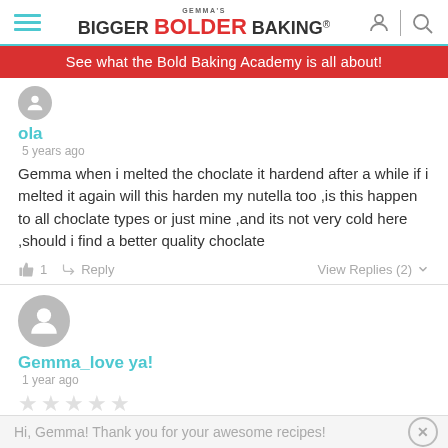Gemma's Bigger Bolder Baking
See what the Bold Baking Academy is all about!
ola
5 years ago
Gemma when i melted the choclate it hardend after a while if i melted it again will this harden my nutella too ,is this happen to all choclate types or just mine ,and its not very cold here ,should i find a better quality choclate
1   Reply   View Replies (2)
Gemma_love ya!
1 year ago
★★★★★
Hi, Gemma! Thank you for your awesome recipes!